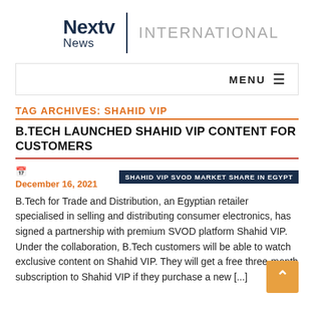[Figure (logo): Nextv News | INTERNATIONAL logo with dark navy text and grey thin lettering]
MENU ≡
TAG ARCHIVES: SHAHID VIP
B.TECH LAUNCHED SHAHID VIP CONTENT FOR CUSTOMERS
December 16, 2021   SHAHID VIP SVOD MARKET SHARE IN EGYPT
B.Tech for Trade and Distribution, an Egyptian retailer specialised in selling and distributing consumer electronics, has signed a partnership with premium SVOD platform Shahid VIP. Under the collaboration, B.Tech customers will be able to watch exclusive content on Shahid VIP. They will get a free three-month subscription to Shahid VIP if they purchase a new [...]